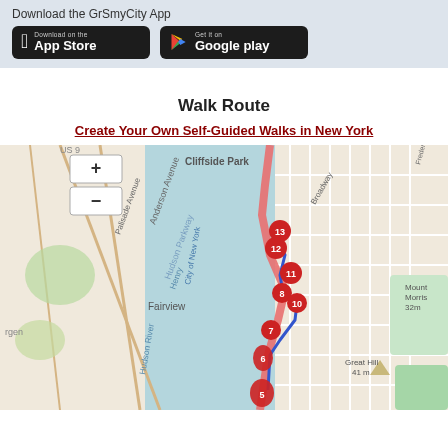Download the GrSmyCity App
[Figure (screenshot): App Store download button (black rounded rectangle with Apple logo)]
[Figure (screenshot): Google Play download button (black rounded rectangle with Play logo)]
Walk Route
Create Your Own Self-Guided Walks in New York
[Figure (map): Map showing a walk route in New York City along the Hudson River / Henry Hudson Parkway area, with numbered red markers (5, 6, 7, 8, 10, 11, 12, 13) connected by a blue route line. Map shows Cliffside Park, Fairview, City of New York labels, Hudson River, Great Hill (41m), Mount Morris (32m). Zoom controls (+ and -) visible on left.]